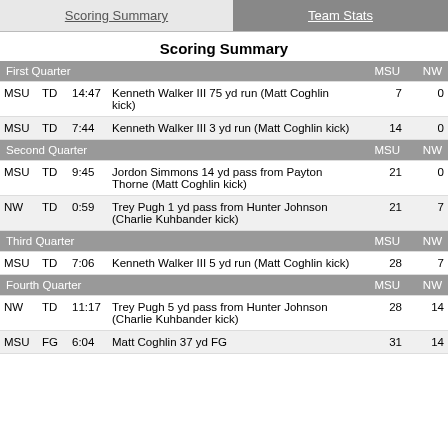Scoring Summary | Team Stats
Scoring Summary
|  |  |  | Description | MSU | NW |
| --- | --- | --- | --- | --- | --- |
| First Quarter |  |  |  | MSU | NW |
| MSU | TD | 14:47 | Kenneth Walker III 75 yd run (Matt Coghlin kick) | 7 | 0 |
| MSU | TD | 7:44 | Kenneth Walker III 3 yd run (Matt Coghlin kick) | 14 | 0 |
| Second Quarter |  |  |  | MSU | NW |
| MSU | TD | 9:45 | Jordon Simmons 14 yd pass from Payton Thorne (Matt Coghlin kick) | 21 | 0 |
| NW | TD | 0:59 | Trey Pugh 1 yd pass from Hunter Johnson (Charlie Kuhbander kick) | 21 | 7 |
| Third Quarter |  |  |  | MSU | NW |
| MSU | TD | 7:06 | Kenneth Walker III 5 yd run (Matt Coghlin kick) | 28 | 7 |
| Fourth Quarter |  |  |  | MSU | NW |
| NW | TD | 11:17 | Trey Pugh 5 yd pass from Hunter Johnson (Charlie Kuhbander kick) | 28 | 14 |
| MSU | FG | 6:04 | Matt Coghlin 37 yd FG | 31 | 14 |